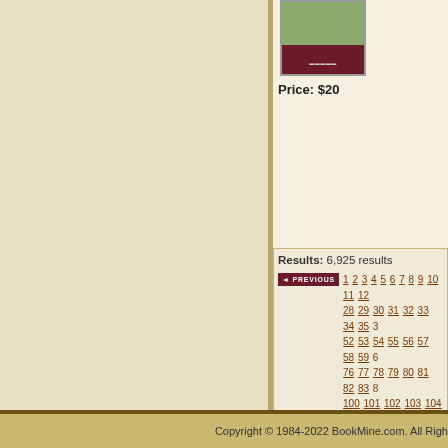[Figure (photo): Book cover image - green and dark red book]
Price: $20
Results: 6,925 results
Pagination: 1 2 3 4 5 6 7 8 9 10 11 12... 28 29 30 31 32 33 34 35 3... 52 53 54 55 56 57 58 59 6... 76 77 78 79 80 81 82 83 8... 100 101 102 103 104 105... 117 118 119 120 121 122... 134 135 136 137 138 139... 151 152 153 154 155 156... 168 169 170 171 172 173... 185 186 187 188 189 190... 202 203 204 205 206 207... 219 220 221 222 223 224... 236 237 238 239 240 241... 253 254 255 256 257 258... 270 271 272 273 274 275...
Copyright © 1984-2022 BookMine.com. All Righ...